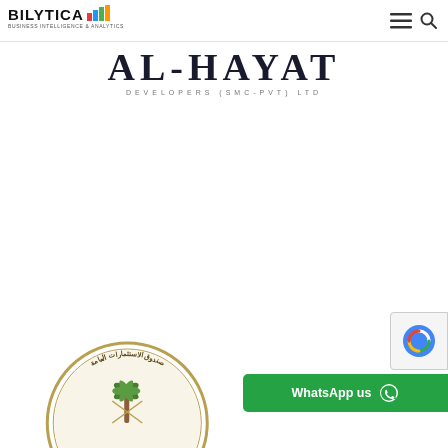[Figure (logo): Bilytica Business Intelligence & Analytics logo with colored bar chart icon]
[Figure (logo): AL-HAYAT DEVELOPERS (SMC-PVT) LTD logo in serif typeface]
[Figure (logo): Saudi General Investment Authority circular seal with Arabic text and palm tree emblem, partially visible at bottom]
WhatsApp us